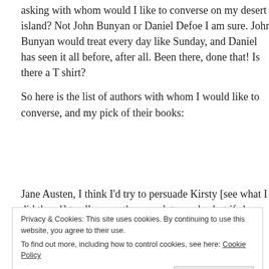asking with whom would I like to converse on my desert island? Not John Bunyan or Daniel Defoe I am sure. John Bunyan would treat every day like Sunday, and Daniel has seen it all before, after all. Been there, done that! Is there a T shirt?
So here is the list of authors with whom I would like to converse, and my pick of their books:
Jane Austen, I think I'd try to persuade Kirsty [see what I did there!] to allow me the complete works, but if she doesn't agree I'll take Pride and Prejudice.
Privacy & Cookies: This site uses cookies. By continuing to use this website, you agree to their use.
To find out more, including how to control cookies, see here: Cookie Policy
Close and accept
[Figure (other): Bottom portion of a book cover showing 'A NOVEL.' text on a cream/beige background]